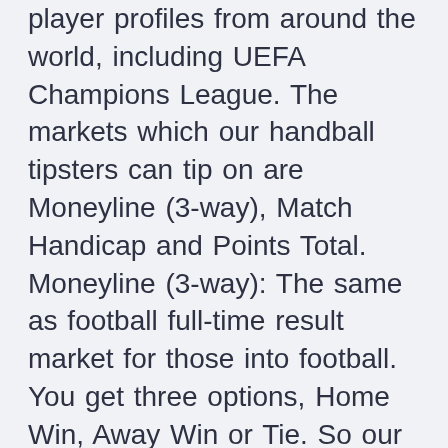player profiles from around the world, including UEFA Champions League. The markets which our handball tipsters can tip on are Moneyline (3-way), Match Handicap and Points Total. Moneyline (3-way): The same as football full-time result market for those into football. You get three options, Home Win, Away Win or Tie. So our handball predictions on this market will be one of the three. Austria face North Macedonia in UEFA EURO 2020 Group C – all you need to know.